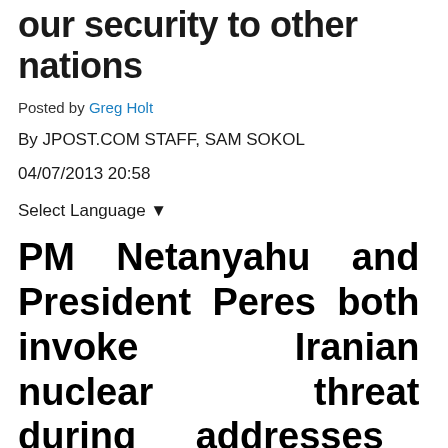our security to other nations
Posted by Greg Holt
By JPOST.COM STAFF, SAM SOKOL
04/07/2013 20:58
Select Language ▼
PM Netanyahu and President Peres both invoke Iranian nuclear threat during addresses at Holocaust Remembrance Day state ceremony at